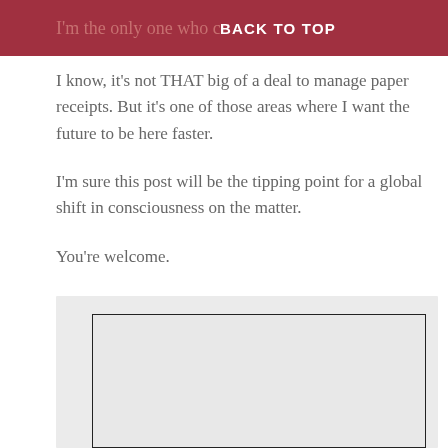I'm the only one who c  BACK TO TOP
I know, it's not THAT big of a deal to manage paper receipts. But it's one of those areas where I want the future to be here faster.
I'm sure this post will be the tipping point for a global shift in consciousness on the matter.
You're welcome.
[Figure (other): A light gray rectangular image placeholder with a dark border, set inside a slightly darker gray background panel.]